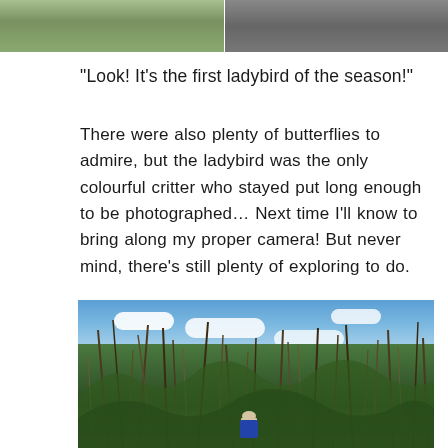[Figure (photo): Two cropped nature photos side by side at top: left shows green foliage, right shows grey/brown texture (possibly bark or rock)]
“Look! It’s the first ladybird of the season!”
There were also plenty of butterflies to admire, but the ladybird was the only colourful critter who stayed put long enough to be photographed… Next time I’ll know to bring along my proper camera! But never mind, there’s still plenty of exploring to do.
[Figure (photo): Outdoor nature scene looking through tall dune grasses toward a blue sky with white clouds. A small figure (toy or doll) wearing a blue top and hat sits at the bottom center of the image, viewed from behind, surrounded by tall grass.]